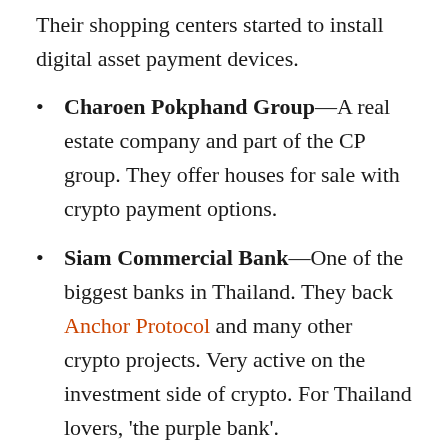Their shopping centers started to install digital asset payment devices.
Charoen Pokphand Group—A real estate company and part of the CP group. They offer houses for sale with crypto payment options.
Siam Commercial Bank—One of the biggest banks in Thailand. They back Anchor Protocol and many other crypto projects. Very active on the investment side of crypto. For Thailand lovers, 'the purple bank'.
The picture below shows an advertisement in Bangkok for a Thai crypto exchange.